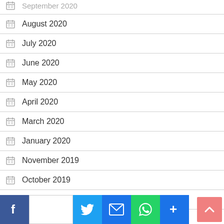September 2020 (partial)
August 2020
July 2020
June 2020
May 2020
April 2020
March 2020
January 2020
November 2019
October 2019
August 2019
June 2019
May 2019